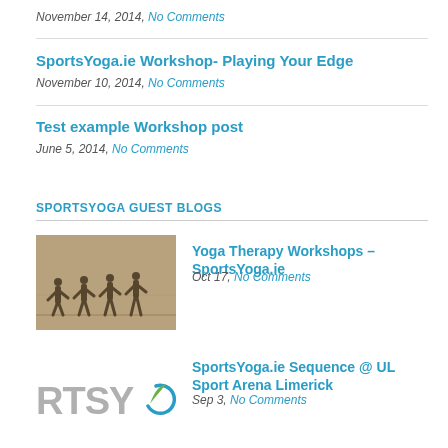November 14, 2014, No Comments
SportsYoga.ie Workshop- Playing Your Edge
November 10, 2014, No Comments
Test example Workshop post
June 5, 2014, No Comments
SPORTSYOGA GUEST BLOGS
[Figure (photo): Black and white photo of people doing yoga in a gym/studio]
Yoga Therapy Workshops – SportsYoga.ie
Oct 17, No Comments
[Figure (logo): SportsYoga RTSYO logo with leaf icon]
SportsYoga.ie Sequence @ UL Sport Arena Limerick
Sep 3, No Comments